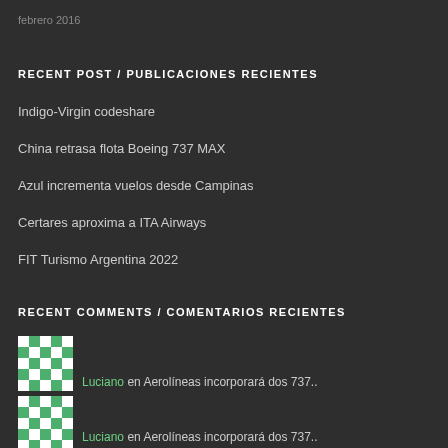febrero 2016
RECENT POST / PUBLICACIONES RECIENTES
Indigo-Virgin codeshare
China retrasa flota Boeing 737 MAX
Azul incrementa vuelos desde Campinas
Certares aproxima a ITA Airways
FIT Turismo Argentina 2022
RECENT COMMENTS / COMENTARIOS RECIENTES
[Figure (illustration): Green and white pixel avatar (Luciano)]
Luciano en Aerolíneas incorporará dos 737..
[Figure (illustration): Green and white pixel avatar (Luciano)]
Luciano en Aerolíneas incorporará dos 737..